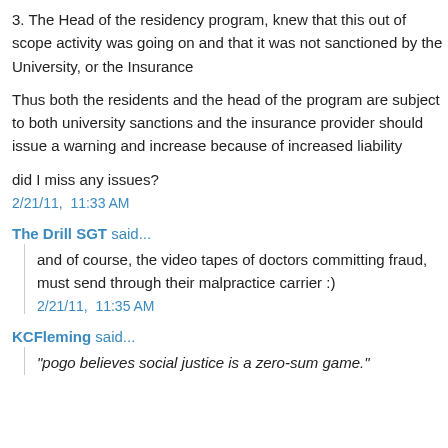3. The Head of the residency program, knew that this out of scope activity was going on and that it was not sanctioned by the University, or the Insurance
Thus both the residents and the head of the program are subject to both university sanctions and the insurance provider should issue a warning and increase because of increased liability
did I miss any issues?
2/21/11, 11:33 AM
The Drill SGT said...
and of course, the video tapes of doctors committing fraud, must send through their malpractice carrier :)
2/21/11, 11:35 AM
KCFleming said...
"pogo believes social justice is a zero-sum game."